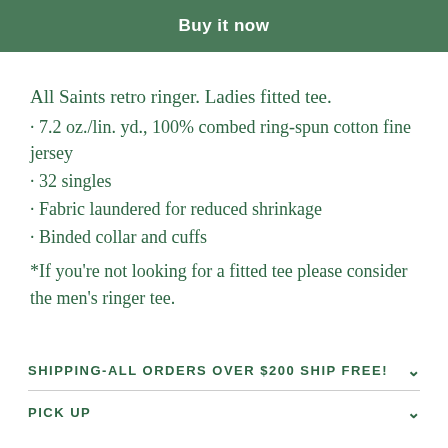Buy it now
All Saints retro ringer. Ladies fitted tee.
· 7.2 oz./lin. yd., 100% combed ring-spun cotton fine jersey
· 32 singles
· Fabric laundered for reduced shrinkage
· Binded collar and cuffs
*If you're not looking for a fitted tee please consider the men's ringer tee.
SHIPPING-ALL ORDERS OVER $200 SHIP FREE!
PICK UP